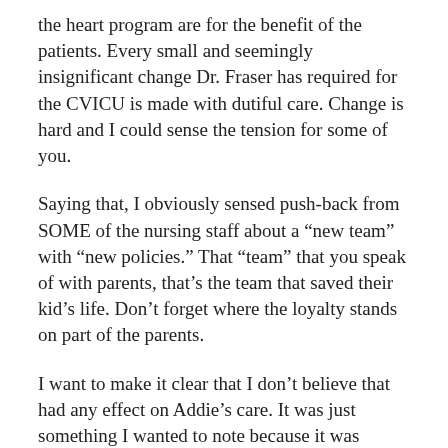the heart program are for the benefit of the patients. Every small and seemingly insignificant change Dr. Fraser has required for the CVICU is made with dutiful care. Change is hard and I could sense the tension for some of you.
Saying that, I obviously sensed push-back from SOME of the nursing staff about a “new team” with “new policies.” That “team” that you speak of with parents, that’s the team that saved their kid’s life. Don’t forget where the loyalty stands on part of the parents.
I want to make it clear that I don’t believe that had any effect on Addie’s care. It was just something I wanted to note because it was obvious. I want to thank all the nurses for loving Addie and going above and beyond of her. I’m